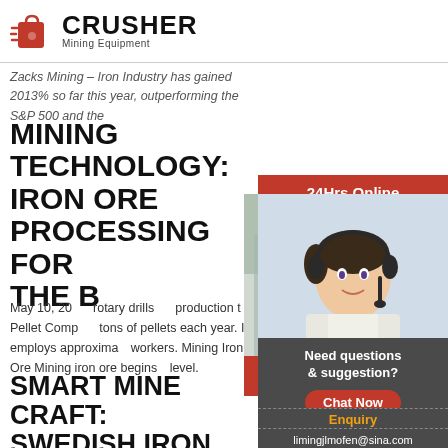[Figure (logo): Crusher Mining Equipment logo with red shopping bag icon and bold CRUSHER text]
Zacks Mining – Iron Industry has gained 2013% so far this year, outperforming the S&P 500 and the
MINING TECHNOLOGY: IRON ORE PROCESSING FOR THE B...
May 10, 20... rotary drills... production t... Pellet Comp... tons of pellets each year. It employs approximat... workers. Mining Iron Ore Mining iron ore begins... level.
[Figure (photo): Live chat popup overlay showing construction workers in yellow hard hats on left, red LIVE CHAT text, Click for a Free Consultation, Chat now and Chat later buttons, and operator with headset on right]
SMART MINE CRAFT: SWEDISH IRON MINE G... ABB UPGRADES